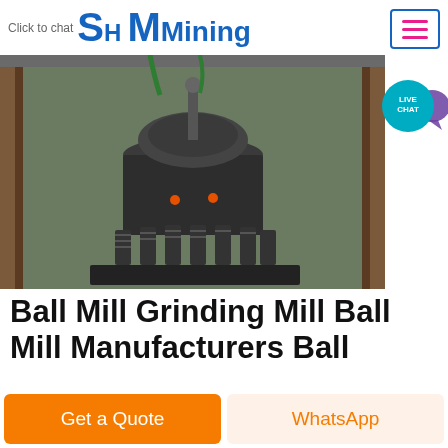Click to chat  SH MMining
[Figure (photo): Industrial cone crusher machine photographed outdoors under a metal frame structure, with green hoses visible at top. Machine is large, dark grey/black with spring assemblies around its base.]
[Figure (other): Live Chat bubble icon - teal circle with LIVE CHAT text and purple speech bubble tail]
Ball Mill Grinding Mill Ball Mill Manufacturers Ball
Grinding Xinhai grinding mill has excellent energy saving ability According to the customer demand manganese steel liner and wear resistant rubber liner can be customized for
Get a Quote   WhatsApp